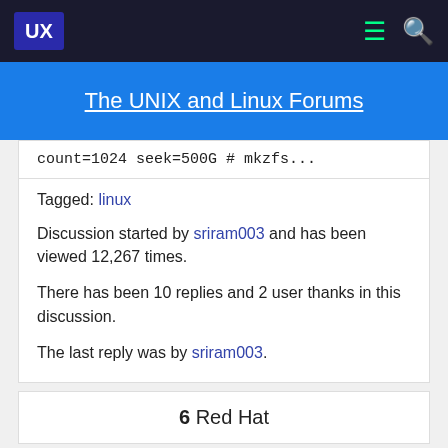UX
The UNIX and Linux Forums
count=1024 seek=500G # mkzfs...
Tagged: linux
Discussion started by sriram003 and has been viewed 12,267 times.
There has been 10 replies and 2 user thanks in this discussion.
The last reply was by sriram003.
6  Red Hat